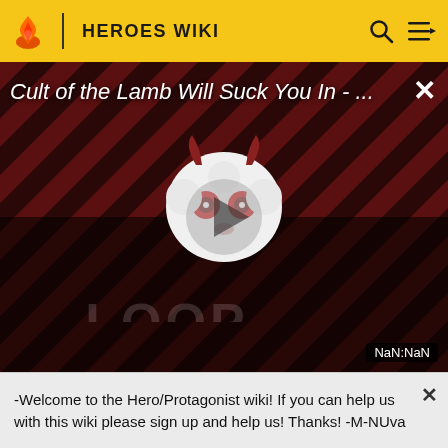HEROES WIKI
[Figure (screenshot): Video thumbnail for 'Cult of the Lamb Will Suck You In - ...' showing a cartoon lamb character with red eyes on a dark striped background, with a play button overlay and THE LOOP watermark. Timestamp shows NaN:NaN.]
Nia (Xenoblade Chronicles)
-Welcome to the Hero/Protagonist wiki! If you can help us with this wiki please sign up and help us! Thanks! -M-NUva